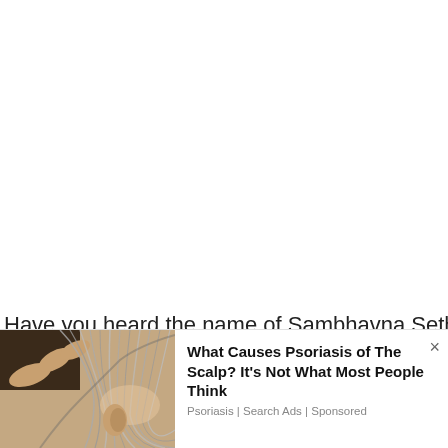Have you heard the name of Sambhavna Seth? She is
We use cookies on our website to give you the most relevant experience by remembering your preferences and repeat visits. By clicking "Accept All", you consent to the use of ALL the cookies. However, you may visit "Cookie Settings" to provide a controlled consent.
[Figure (photo): Close-up photo of a person's scalp and gray hair, showing the back of the ear area]
What Causes Psoriasis of The Scalp? It's Not What Most People Think
Psoriasis | Search Ads | Sponsored